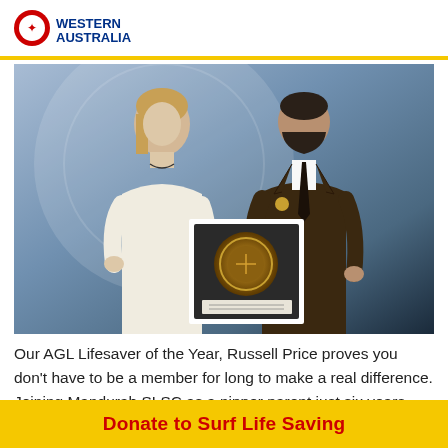WESTERN AUSTRALIA
[Figure (photo): Two people holding a framed award plaque with a gold medallion, standing in front of a blue circular backdrop. A woman in a white jacket on the left and a man in a dark brown suit on the right.]
Our AGL Lifesaver of the Year, Russell Price proves you don't have to be a member for long to make a real difference. Joining Mandurah SLSC as a nipper parent just six years ago, Russell has made a huge impact at his club as
Donate to Surf Life Saving